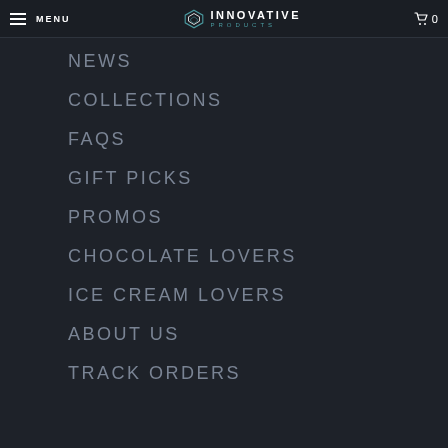MENU | INNOVATIVE PRODUCTS | 0
NEWS
COLLECTIONS
FAQS
GIFT PICKS
PROMOS
CHOCOLATE LOVERS
ICE CREAM LOVERS
ABOUT US
TRACK ORDERS